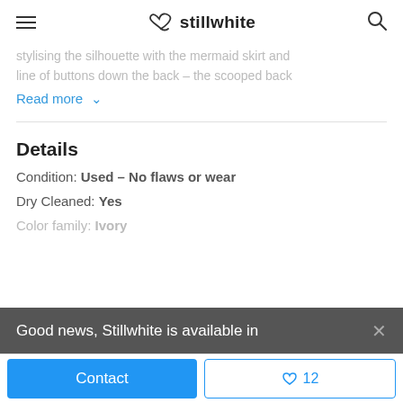stillwhite
stylising the silhouette with the mermaid skirt and line of buttons down the back – the scooped back
Read more ˅
Details
Condition: Used – No flaws or wear
Dry Cleaned: Yes
Color family: Ivory
Good news, Stillwhite is available in
Contact
♡ 12